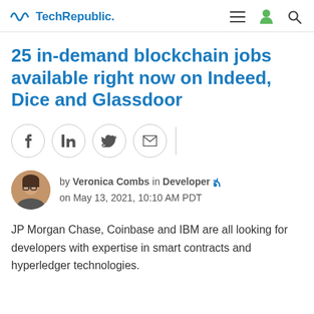TechRepublic
25 in-demand blockchain jobs available right now on Indeed, Dice and Glassdoor
[Figure (other): Social share buttons: Facebook, LinkedIn, Twitter, Email]
by Veronica Combs in Developer on May 13, 2021, 10:10 AM PDT
JP Morgan Chase, Coinbase and IBM are all looking for developers with expertise in smart contracts and hyperledger technologies.